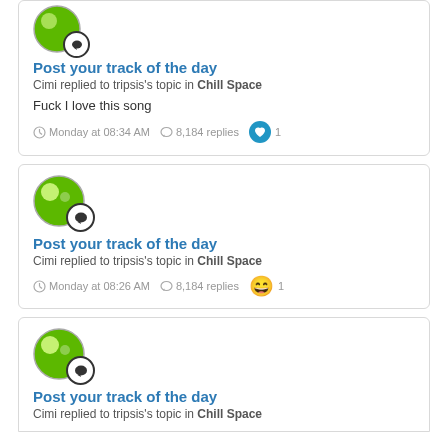[Figure (screenshot): Partial top card showing avatar with green background and chat badge]
Post your track of the day
Cimi replied to tripsis's topic in Chill Space
Fuck I love this song
Monday at 08:34 AM  8,184 replies  1
[Figure (screenshot): Second card avatar with green background and chat badge]
Post your track of the day
Cimi replied to tripsis's topic in Chill Space
Monday at 08:26 AM  8,184 replies  1
[Figure (screenshot): Third card avatar with green background and chat badge]
Post your track of the day
Cimi replied to tripsis's topic in Chill Space